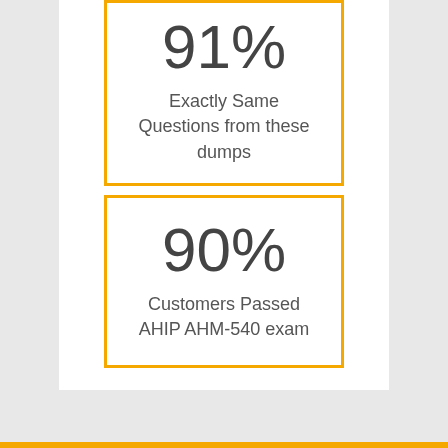[Figure (infographic): Orange-bordered box showing 91% stat with label 'Exactly Same Questions from these dumps']
[Figure (infographic): Orange-bordered box showing 90% stat with label 'Customers Passed AHIP AHM-540 exam']